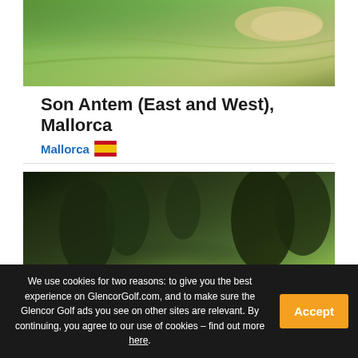[Figure (photo): Aerial view of Son Antem golf course in Mallorca showing green fairways and sand bunkers]
Son Antem (East and West), Mallorca
Mallorca 🇪🇸
[Figure (photo): Aerial view of Son Muntaner Golf course in Mallorca showing green putting area surrounded by dense pine trees]
Son Muntaner Golf, Mallorca
Mallorca 🇪🇸
We use cookies for two reasons: to give you the best experience on GlencorGolf.com, and to make sure the Glencor Golf ads you see on other sites are relevant. By continuing, you agree to our use of cookies – find out more here.